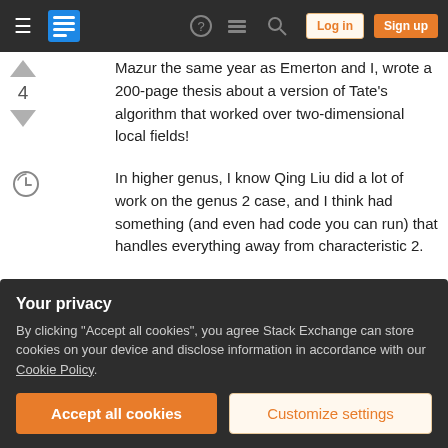Stack Exchange navigation bar with Log in and Sign up buttons
Mazur the same year as Emerton and I, wrote a 200-page thesis about a version of Tate's algorithm that worked over two-dimensional local fields!
In higher genus, I know Qing Liu did a lot of work on the genus 2 case, and I think had something (and even had code you can run) that handles everything away from characteristic 2.
Share  Cite   answered Jan 3, 2010 at 23:52
Improve this answer   JSE
Your privacy
By clicking "Accept all cookies", you agree Stack Exchange can store cookies on your device and disclose information in accordance with our Cookie Policy.
Accept all cookies   Customize settings
thesis available? In genus 2, Liu's algorithm is based